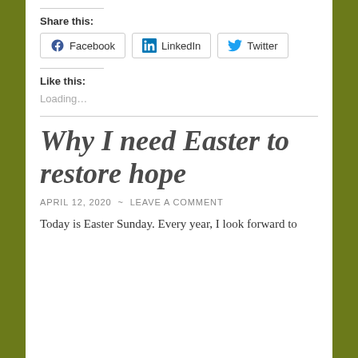Share this:
Facebook  LinkedIn  Twitter
Like this:
Loading…
Why I need Easter to restore hope
APRIL 12, 2020 ~ LEAVE A COMMENT
Today is Easter Sunday. Every year, I look forward to